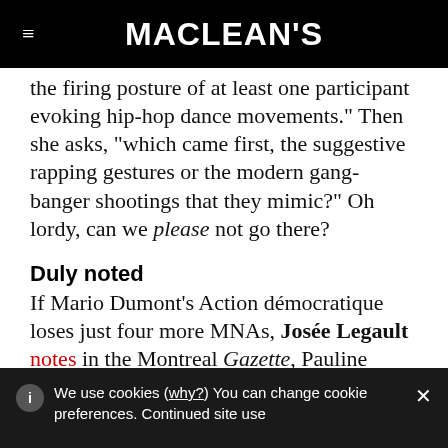MACLEAN'S
the firing posture of at least one participant evoking hip-hop dance movements." Then she asks, "which came first, the suggestive rapping gestures or the modern gang-banger shootings that they mimic?" Oh lordy, can we please not go there?
Duly noted
If Mario Dumont's Action démocratique loses just four more MNAs, Josée Legault notes in the Montreal Gazette, Pauline
We use cookies (why?) You can change cookie preferences. Continued site use